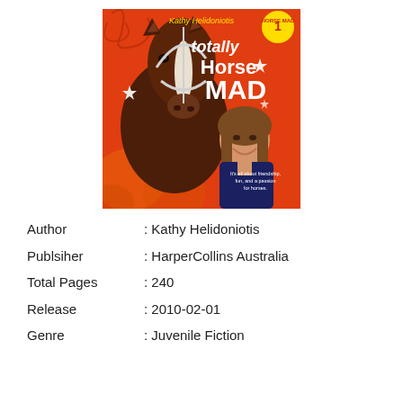[Figure (illustration): Book cover of 'Totally Horse Mad' by Kathy Helidoniotis. Red/orange background with a large brown horse with white blaze taking up left and center, a smiling girl with brown hair on the right side wearing a dark blue top. Text on cover reads: Kathy Helidoniotis, totally Horse MAD, Horse Mad 1. Small text at bottom: It's all about friendship, fun, and a passion for horses.]
Author : Kathy Helidoniotis
Publsiher : HarperCollins Australia
Total Pages : 240
Release : 2010-02-01
Genre : Juvenile Fiction